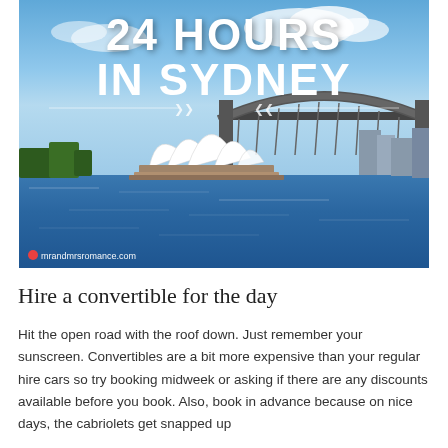[Figure (photo): Photo of Sydney Harbour with the Sydney Opera House and Harbour Bridge visible, overlaid with white bold text reading '24 HOURS IN SYDNEY' and a decorative divider line with arrow motif. A watermark reads 'mrandmrsromance.com' at the bottom left.]
Hire a convertible for the day
Hit the open road with the roof down. Just remember your sunscreen. Convertibles are a bit more expensive than your regular hire cars so try booking midweek or asking if there are any discounts available before you book. Also, book in advance because on nice days, the cabriolets get snapped up